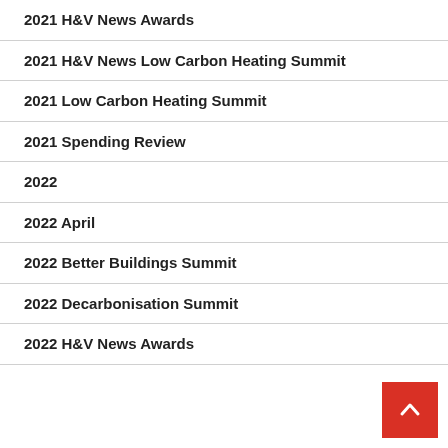2021 H&V News Awards
2021 H&V News Low Carbon Heating Summit
2021 Low Carbon Heating Summit
2021 Spending Review
2022
2022 April
2022 Better Buildings Summit
2022 Decarbonisation Summit
2022 H&V News Awards